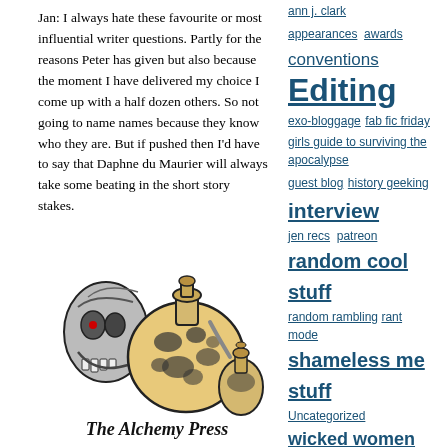Jan: I always hate these favourite or most influential writer questions. Partly for the reasons Peter has given but also because the moment I have delivered my choice I come up with a half dozen others. So not going to name names because they know who they are. But if pushed then I'd have to say that Daphne du Maurier will always take some beating in the short story stakes.
[Figure (logo): The Alchemy Press logo: a skull with a glowing red eye next to decorative alchemical flasks/bottles, with the text 'The Alchemy Press' in ornate script below.]
ann j. clark
appearances
awards
conventions
Editing
exo-bloggage
fab fic friday
girls guide to surviving the apocalypse
guest blog
history geeking
interview
jen recs
patreon
random cool stuff
random rambling
rant mode
shameless me stuff
Uncategorized
wicked women blogfest
writing
TAGS
academic circus
adrian tchaikovsky